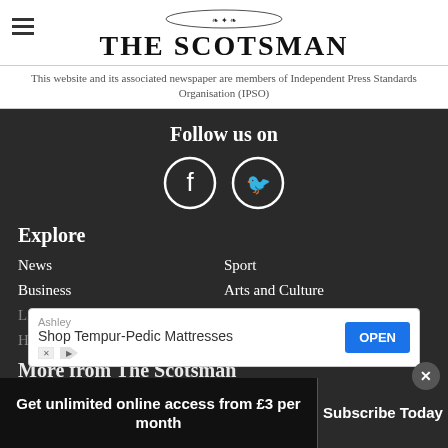[Figure (logo): The Scotsman newspaper logo with decorative thistle emblem above the masthead text]
This website and its associated newspaper are members of Independent Press Standards Organisation (IPSO)
Follow us on
[Figure (illustration): Facebook and Twitter social media icon circles]
Explore
News
Sport
Business
Arts and Culture
Lifestyle
Food and Drink
Heritage
More from The Scotsman
[Figure (screenshot): Advertisement banner: Ashley - Shop Tempur-Pedic Mattresses with OPEN button]
Get unlimited online access from £3 per month
Subscribe Today